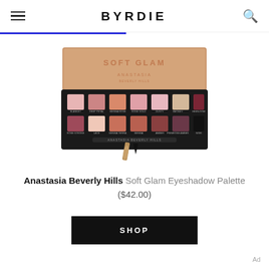BYRDIE
[Figure (photo): Anastasia Beverly Hills Soft Glam Eyeshadow Palette product photo showing an open palette with rose-gold lid and 14 eyeshadow shades in warm pinks, peaches, mauves, and one dark shade, with a makeup brush below.]
Anastasia Beverly Hills Soft Glam Eyeshadow Palette ($42.00)
SHOP
Ad